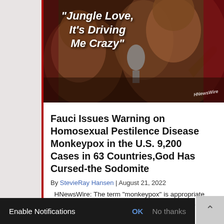[Figure (illustration): Illustrated image showing stylized animals/monkeys in a dark artistic style with a microphone and guitar visible. White bold italic text overlay reads: "Jungle Love, It's Driving Me Crazy". HNewsWire watermark in bottom right corner.]
Fauci Issues Warning on Homosexual Pestilence Disease Monkeypox in the U.S. 9,200 Cases in 63 Countries,God Has Cursed-the Sodomite
By StevieRay Hansen | August 21, 2022
HNewsWire: The term “monkeypox” is appropriate since the sickness first appeared in lab monkeys. By asserting